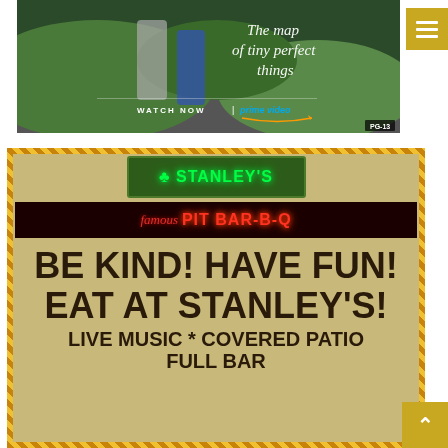[Figure (photo): Amazon Prime Video advertisement for 'The Map of Tiny Perfect Things' movie. Shows two figures walking on a road with green hills. Text reads WATCH NOW | prime video. PG-13 rating shown.]
[Figure (photo): Stanley's Famous Pit Bar-B-Q restaurant sign. Neon sign showing Stanley's logo at top, then Famous PIT BAR-B-Q in red neon. Large bold text: BE KIND! HAVE FUN! EAT AT STANLEY'S! LIVE MUSIC * COVERED PATIO FULL BAR]